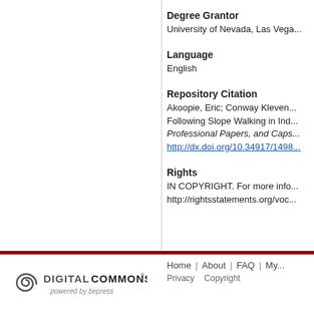Degree Grantor
University of Nevada, Las Vegas
Language
English
Repository Citation
Akoopie, Eric; Conway Kleven... Following Slope Walking in Ind... Professional Papers, and Caps... http://dx.doi.org/10.34917/1498...
Rights
IN COPYRIGHT. For more info... http://rightsstatements.org/voc...
[Figure (logo): Digital Commons powered by bepress logo]
Home | About | FAQ | My... Privacy Copyright All items in Digital Scholarship@U...